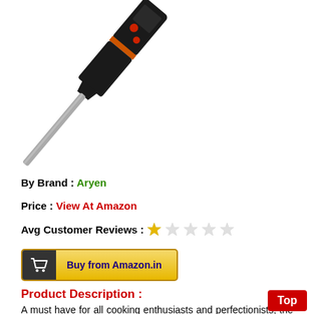[Figure (photo): Digital meat thermometer with black handle, orange accent ring, and stainless steel probe, shown diagonally on white background]
By Brand : Aryen
Price : View At Amazon
Avg Customer Reviews : 1 out of 5 stars
Buy from Amazon.in
Product Description :
A must have for all cooking enthusiasts and perfectionists, the master chefs at home and at restaurants. Cook your food just perfect by checking